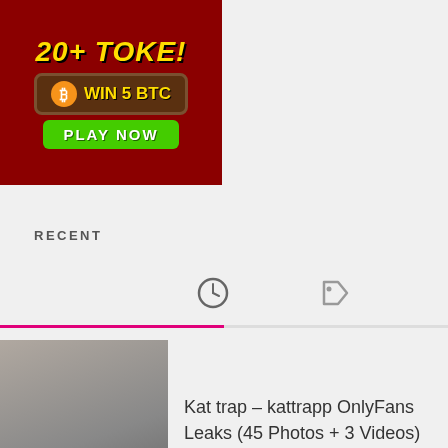[Figure (illustration): Advertisement banner showing '20+ TOKENS', 'WIN 5 BTC' with Bitcoin icon, and 'PLAY NOW' button on dark red background]
RECENT
[Figure (other): Tab navigation row with clock icon (active, pink underline) and tag icon]
Kat trap – kattrapp OnlyFans Leaks (45 Photos + 3 Videos)
shaylust OnlyFans Leaks (40 Photos + 5 Videos)
Jaki-Senpai OnlyFans Leaks (49 Photos + 4